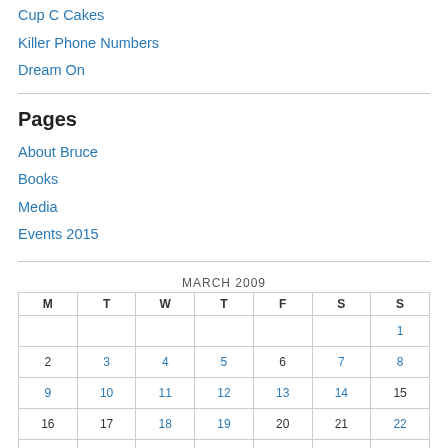Cup C Cakes
Killer Phone Numbers
Dream On
Pages
About Bruce
Books
Media
Events 2015
| M | T | W | T | F | S | S |
| --- | --- | --- | --- | --- | --- | --- |
|  |  |  |  |  |  | 1 |
| 2 | 3 | 4 | 5 | 6 | 7 | 8 |
| 9 | 10 | 11 | 12 | 13 | 14 | 15 |
| 16 | 17 | 18 | 19 | 20 | 21 | 22 |
| 23 | 24 | 25 | 26 | 27 | 28 | 29 |